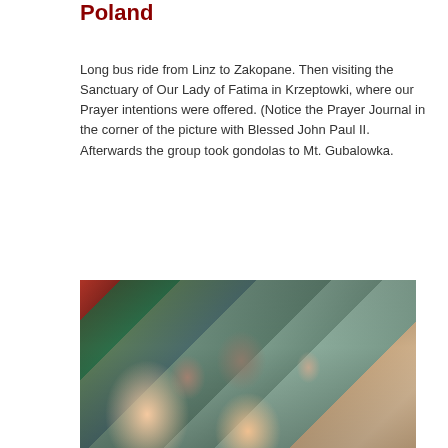Poland
Long bus ride from Linz to Zakopane. Then visiting the Sanctuary of Our Lady of Fatima in Krzeptowki, where our Prayer intentions were offered. (Notice the Prayer Journal in the corner of the picture with Blessed John Paul II. Afterwards the group took gondolas to Mt. Gubalowka.
[Figure (photo): Group selfie photo taken inside a bus showing many passengers seated in bus seats, smiling at camera]
[Figure (photo): Partial view of a vehicle interior, cropped at bottom of page]